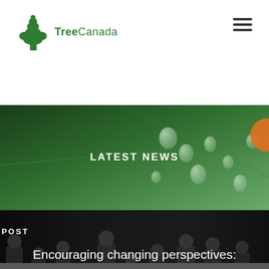[Figure (logo): Tree Canada logo with green tree/leaf icon and text 'TreeCanada']
[Figure (other): Hamburger menu icon (three horizontal lines) in dark grey]
[Figure (photo): Background photo of a green leaf with water droplets, with 'LATEST NEWS' text overlay]
LATEST NEWS
[Figure (photo): Background photo of a group of people on a stage holding awards at the 11th Canadian Urban Forest Conference, with 'NEXT POST' label and article title overlay]
NEXT POST
Encouraging changing perspectives: Reflections on the 11th Canadian Urban Forest Conference